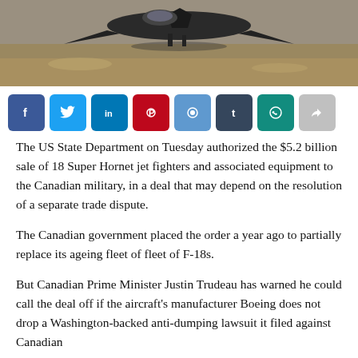[Figure (photo): Partial view of a military jet aircraft on a desert/arid ground, photo cropped at top]
The US State Department on Tuesday authorized the $5.2 billion sale of 18 Super Hornet jet fighters and associated equipment to the Canadian military, in a deal that may depend on the resolution of a separate trade dispute.
The Canadian government placed the order a year ago to partially replace its ageing fleet of fleet of F-18s.
But Canadian Prime Minister Justin Trudeau has warned he could call the deal off if the aircraft's manufacturer Boeing does not drop a Washington-backed anti-dumping lawsuit it filed against Canadian